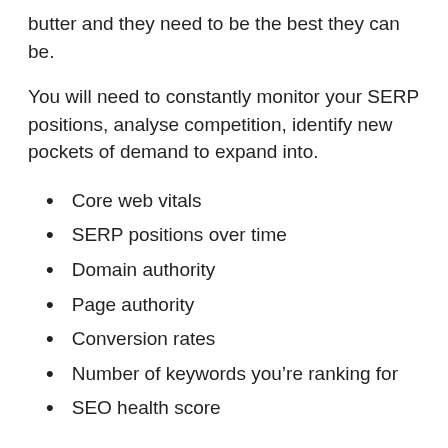butter and they need to be the best they can be.
You will need to constantly monitor your SERP positions, analyse competition, identify new pockets of demand to expand into.
Core web vitals
SERP positions over time
Domain authority
Page authority
Conversion rates
Number of keywords you’re ranking for
SEO health score